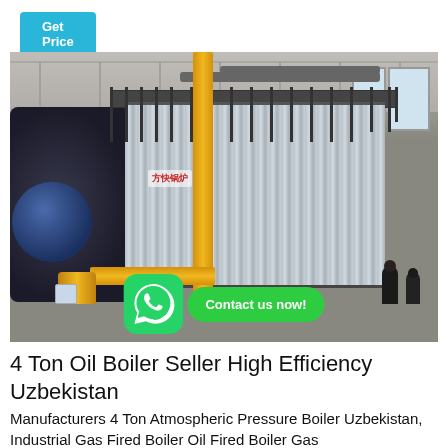Get Price
[Figure (photo): Industrial gas-fired boiler with corrugated metal cladding, yellow pipes, black machinery on left, inside a factory warehouse. WhatsApp contact overlay at bottom of photo.]
4 Ton Oil Boiler Seller High Efficiency Uzbekistan
Manufacturers 4 Ton Atmospheric Pressure Boiler Uzbekistan, Industrial Gas Fired Boiler Oil Fired Boiler Gas